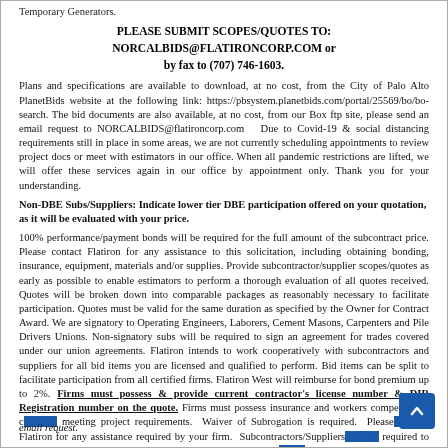Temporary Generators.
PLEASE SUBMIT SCOPES/QUOTES TO:
NORCALBIDS@FLATIRONCORP.COM or
by fax to (707) 746-1603.
Plans and specifications are available to download, at no cost, from the City of Palo Alto PlanetBids website at the following link: https://pbsystem.planetbids.com/portal/25569/bo/bo-search. The bid documents are also available, at no cost, from our Box ftp site, please send an email request to NORCALBIDS@flatironcorp.com  Due to Covid-19 & social distancing requirements still in place in some areas, we are not currently scheduling appointments to review project docs or meet with estimators in our office. When all pandemic restrictions are lifted, we will offer these services again in our office by appointment only. Thank you for your understanding.
Non-DBE Subs/Suppliers: Indicate lower tier DBE participation offered on your quotation, as it will be evaluated with your price.
100% performance/payment bonds will be required for the full amount of the subcontract price. Please contact Flatiron for any assistance to this solicitation, including obtaining bonding, insurance, equipment, materials and/or supplies. Provide subcontractor/supplier scopes/quotes as early as possible to enable estimators to perform a thorough evaluation of all quotes received. Quotes will be broken down into comparable packages as reasonably necessary to facilitate participation. Quotes must be valid for the same duration as specified by the Owner for Contract Award. We are signatory to Operating Engineers, Laborers, Cement Masons, Carpenters and Pile Drivers Unions. Non-signatory subs will be required to sign an agreement for trades covered under our union agreements. Flatiron intends to work cooperatively with subcontractors and suppliers for all bid items you are licensed and qualified to perform. Bid items can be split to facilitate participation from all certified firms. Flatiron West will reimburse for bond premium up to 2%. Firms must possess & provide current contractor's license number & DIR Registration number on the quote. Firms must possess insurance and workers compensation coverage meeting project requirements. Waiver of Subrogation is required. Please contact Flatiron for any assistance required by your firm. Subcontractors/Suppliers will be required to execute our standard agreements and agree to the standard general terms & conditions. Copies are available for review on our Box.com ftp site upon email request.